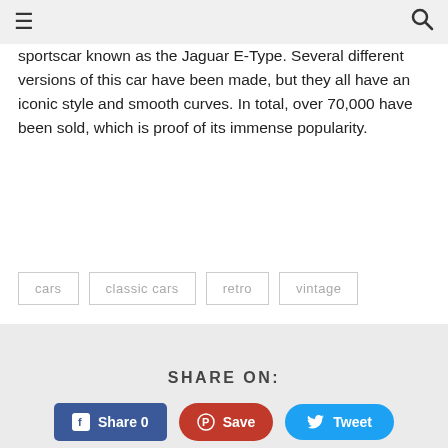≡  🔍
sportscar known as the Jaguar E-Type. Several different versions of this car have been made, but they all have an iconic style and smooth curves. In total, over 70,000 have been sold, which is proof of its immense popularity.
cars
classic cars
retro
vintage
SHARE ON:
Share 0  Save  Tweet
← 10 Most Talented Rugby League Players of All Time